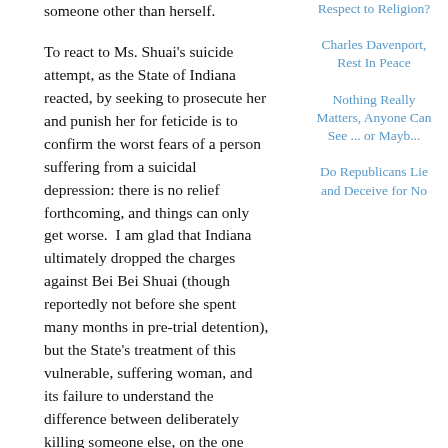someone other than herself.
To react to Ms. Shuai's suicide attempt, as the State of Indiana reacted, by seeking to prosecute her and punish her for feticide is to confirm the worst fears of a person suffering from a suicidal depression: there is no relief forthcoming, and things can only get worse.  I am glad that Indiana ultimately dropped the charges against Bei Bei Shuai (though reportedly not before she spent many months in pre-trial detention), but the State's treatment of this vulnerable, suffering woman, and its failure to understand the difference between deliberately killing someone else, on the one hand, and seeking a way out of crushing pain and depression for oneself, on the other, is something I find both alarming and heartless.  I hope that despite the large number of states that have feticide laws, Indiana remains an outlier in using these laws in the cruel manner
Respect to Religion?
Charles Davenport, Rest In Peace
Nothing Really Matters, Anyone Can See ... or Mayb...
Do Republicans Lie and Deceive for No